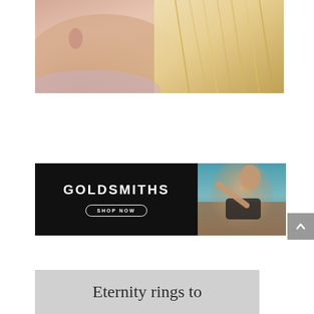[Figure (photo): Close-up photo of a blonde woman's neck, shoulder, and hair against a light background]
[Figure (photo): Goldsmiths advertisement banner with black left panel showing GOLDSMITHS logo and SHOP NOW button, right panel showing a woman in a black bikini lying down]
[Figure (illustration): Partial view of a gray banner with serif text reading 'Eternity rings to']